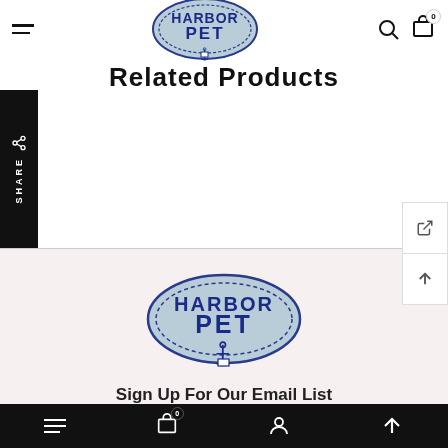Harbor Pet — navigation bar with hamburger menu, logo, search and cart icons
Related Products
[Figure (logo): Harbor Pet oval logo with anchor icon in header]
[Figure (logo): Harbor Pet oval logo in footer section]
Sign Up For Our Email List
First Name
Bottom navigation bar with hamburger, cart (0), user, and up-arrow icons